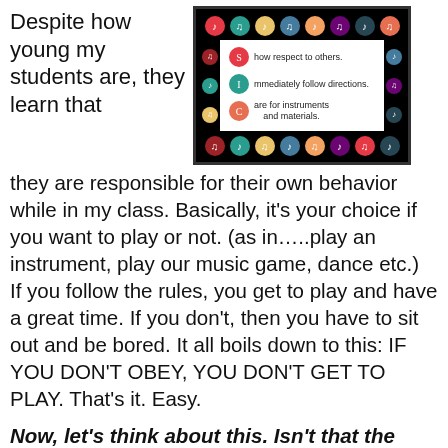Despite how young my students are, they learn that
[Figure (illustration): Music classroom rules poster on black background with colorful music note circles border. Rules listed: Show respect to others. Immediately follow directions. Care for instruments and materials.]
they are responsible for their own behavior while in my class. Basically, it's your choice if you want to play or not. (as in…..play an instrument, play our music game, dance etc.)  If you follow the rules, you get to play and have a great time. If you don't, then you have to sit out and be bored. It all boils down to this: IF YOU DON'T OBEY, YOU DON'T GET TO PLAY. That's it. Easy.
Now, let's think about this. Isn't that the way it is